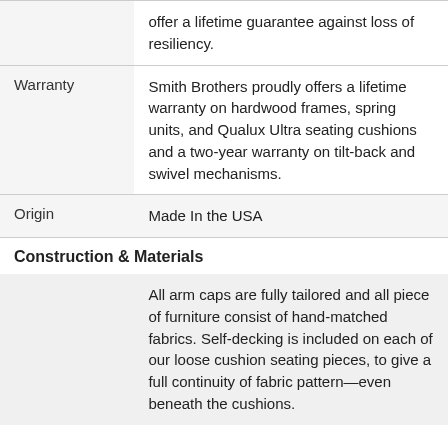|  |  |
| --- | --- |
|  | offer a lifetime guarantee against loss of resiliency. |
| Warranty | Smith Brothers proudly offers a lifetime warranty on hardwood frames, spring units, and Qualux Ultra seating cushions and a two-year warranty on tilt-back and swivel mechanisms. |
| Origin | Made In the USA |
Construction & Materials
|  |  |
| --- | --- |
|  | All arm caps are fully tailored and all piece of furniture consist of hand-matched fabrics. Self-decking is included on each of our loose cushion seating pieces, to give a full continuity of fabric pattern—even beneath the cushions. |
...